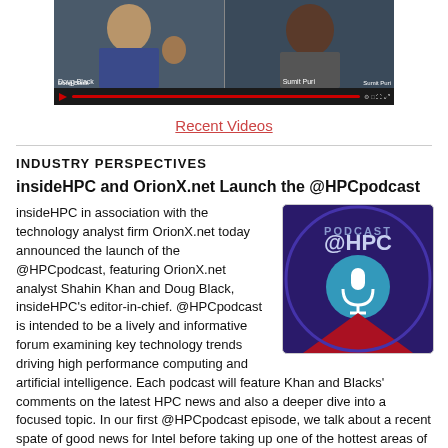[Figure (screenshot): Video thumbnail showing two men (Doug Black and Sumit Puri) in a video call interface with playback controls at the bottom]
Recent Videos
INDUSTRY PERSPECTIVES
insideHPC and OrionX.net Launch the @HPCpodcast
[Figure (logo): @HPCpodcast circular logo with purple background, microphone icon, and red triangle]
insideHPC in association with the technology analyst firm OrionX.net today announced the launch of the @HPCpodcast, featuring OrionX.net analyst Shahin Khan and Doug Black, insideHPC's editor-in-chief. @HPCpodcast is intended to be a lively and informative forum examining key technology trends driving high performance computing and artificial intelligence. Each podcast will feature Khan and Blacks' comments on the latest HPC news and also a deeper dive into a focused topic. In our first @HPCpodcast episode, we talk about a recent spate of good news for Intel before taking up one of the hottest areas of the advanced computing arena: new HPC-AI chips.